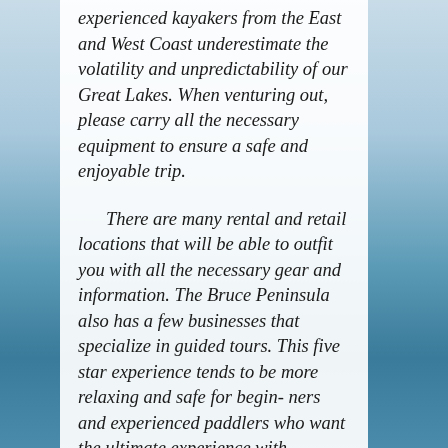experienced kayakers from the East and West Coast underestimate the volatility and unpredictability of our Great Lakes. When venturing out, please carry all the necessary equipment to ensure a safe and enjoyable trip.
There are many rental and retail locations that will be able to outfit you with all the necessary gear and information. The Bruce Peninsula also has a few businesses that specialize in guided tours. This five star experience tends to be more relaxing and safe for begin- ners and experienced paddlers who want the ultimate experience with